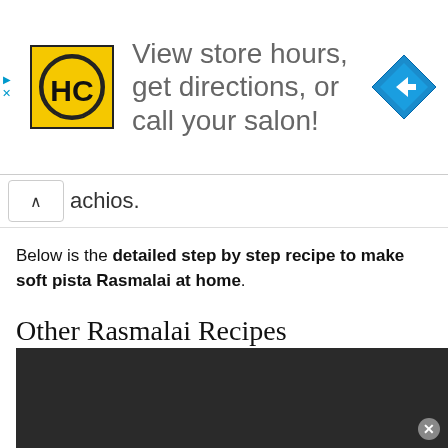[Figure (screenshot): Advertisement banner with HC (Hair Club) logo on yellow background, text reading 'View store hours, get directions, or call your salon!' and a blue navigation diamond icon on the right.]
achios.
Below is the detailed step by step recipe to make soft pista Rasmalai at home.
Other Rasmalai Recipes
Rose Rasmalai
Original Rasmalai
[Figure (photo): Dark/black image at the bottom of the page, partially visible, with a close button in the bottom right corner.]